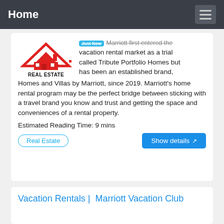Home
[Figure (logo): Real Estate logo with red house/roof icon above the text REAL ESTATE]
Marriott first entered the vacation rental market as a trial called Tribute Portfolio Homes but has been an established brand, Homes and Villas by Marriott, since 2019. Marriott's home rental program may be the perfect bridge between sticking with a travel brand you know and trust and getting the space and conveniences of a rental property.
Estimated Reading Time: 9 mins
Real Estate
Show details
Vacation Rentals | Marriott Vacation Club